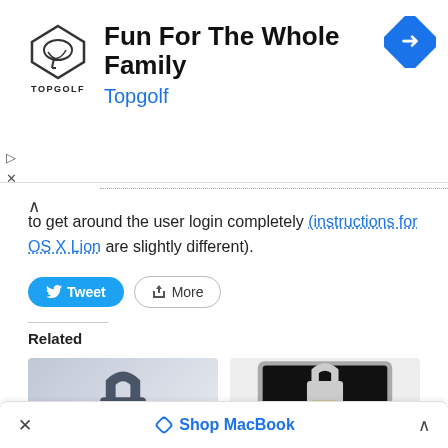[Figure (screenshot): Advertisement banner for Topgolf with logo, title 'Fun For The Whole Family', subtitle 'Topgolf', and a blue navigation arrow icon on the right. Play and close controls on the left.]
to get around the user login completely (instructions for OS X Lion are slightly different).
[Figure (screenshot): Tweet and More share buttons]
Related
[Figure (screenshot): Thumbnail image showing a padlock icon on a grey/blue gradient background with a login field below it]
[Figure (screenshot): Thumbnail image showing a MacBook with black screen displaying a padlock icon and text 'Set a Firmware Password']
[Figure (screenshot): Bottom bar with X close button, 'Shop MacBook' link with diamond icon, and up chevron]